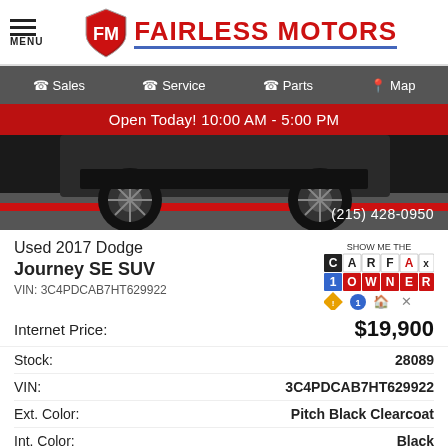MENU | FAIRLESS MOTORS
Sales | Service | Parts | Map
Open Today! 10:00 AM - 5:00 PM
[Figure (photo): Partial bottom view of a dark SUV (Dodge Journey) on a lot, with a red banner and phone number (215) 428-0950 overlaid]
Used 2017 Dodge Journey SE SUV
VIN: 3C4PDCAB7HT629922
[Figure (logo): SHOW ME THE CARFAX 1 OWNER badge logo]
Internet Price: $19,900
| Label | Value |
| --- | --- |
| Stock: | 28089 |
| VIN: | 3C4PDCAB7HT629922 |
| Ext. Color: | Pitch Black Clearcoat |
| Int. Color: | Black |
| Transmission: | Automatic |